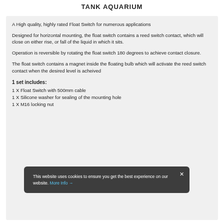TANK AQUARIUM
A High quality, highly rated Float Switch for numerous applications
Designed for horizontal mounting, the float switch contains a reed switch contact, which will close on either rise, or fall of the liquid in which it sits.
Operation is reversible by rotating the float switch 180 degrees to achieve contact closure.
The float switch contains a magnet inside the floating bulb which will activate the reed switch contact when the desired level is acheived
1 set includes:
1 X Float Switch with 500mm cable
1 X Silicone washer for sealing of the mounting hole
1 X M16 locking nut
This website uses cookies to ensure you get the best experience on our website. More Info →